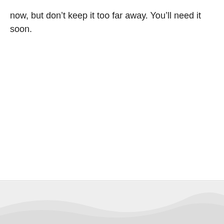now, but don’t keep it too far away. You’ll need it soon.
[Figure (illustration): Partial decorative banner/image visible at the bottom of the page, showing light gray curved shapes on a slightly darker gray background]